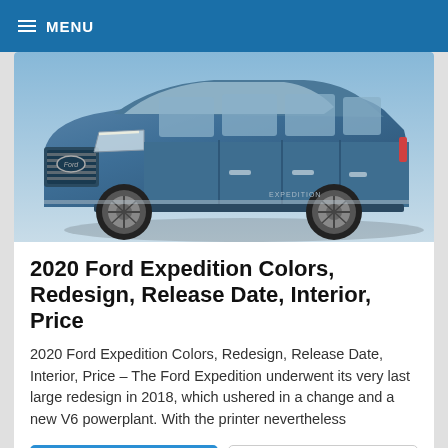≡ MENU
[Figure (photo): Blue Ford Expedition SUV, front three-quarter view, photographed against a light sky background]
2020 Ford Expedition Colors, Redesign, Release Date, Interior, Price
2020 Ford Expedition Colors, Redesign, Release Date, Interior, Price – The Ford Expedition underwent its very last large redesign in 2018, which ushered in a change and a new V6 powerplant. With the printer nevertheless
FULL ARTICLE
NO COMMENTS